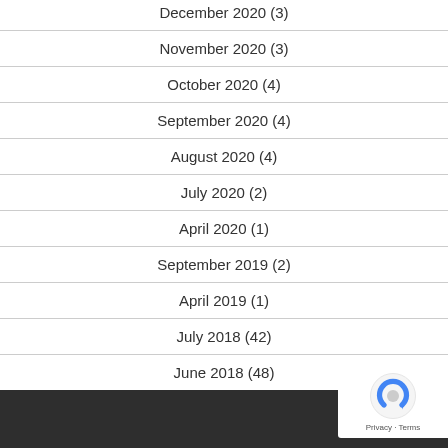December 2020 (3)
November 2020 (3)
October 2020 (4)
September 2020 (4)
August 2020 (4)
July 2020 (2)
April 2020 (1)
September 2019 (2)
April 2019 (1)
July 2018 (42)
June 2018 (48)